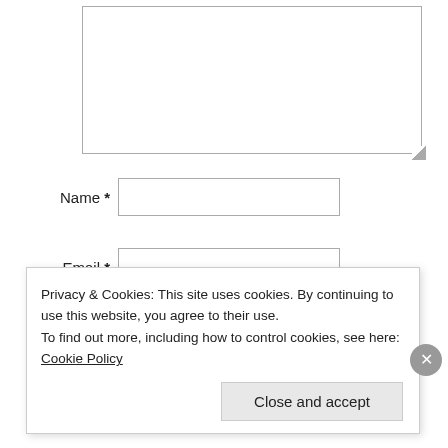[Figure (screenshot): A web form with a large textarea at the top (partially visible), followed by Name*, Email*, and Website input fields, and a partially visible post button. A cookie consent banner overlays the bottom portion of the page with text about Privacy & Cookies and a 'Close and accept' button.]
Name *
Email *
Website
Privacy & Cookies: This site uses cookies. By continuing to use this website, you agree to their use.
To find out more, including how to control cookies, see here: Cookie Policy
Close and accept